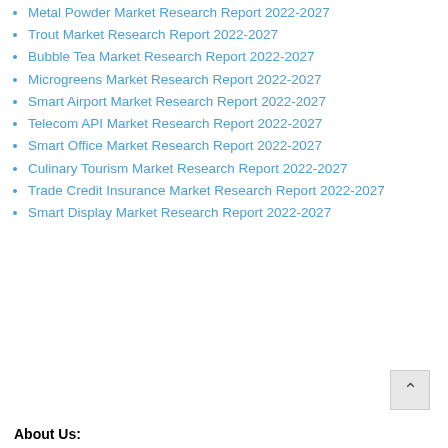Metal Powder Market Research Report 2022-2027
Trout Market Research Report 2022-2027
Bubble Tea Market Research Report 2022-2027
Microgreens Market Research Report 2022-2027
Smart Airport Market Research Report 2022-2027
Telecom API Market Research Report 2022-2027
Smart Office Market Research Report 2022-2027
Culinary Tourism Market Research Report 2022-2027
Trade Credit Insurance Market Research Report 2022-2027
Smart Display Market Research Report 2022-2027
About Us: